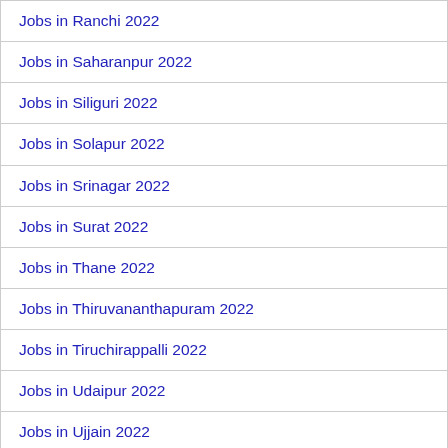Jobs in Ranchi 2022
Jobs in Saharanpur 2022
Jobs in Siliguri 2022
Jobs in Solapur 2022
Jobs in Srinagar 2022
Jobs in Surat 2022
Jobs in Thane 2022
Jobs in Thiruvananthapuram 2022
Jobs in Tiruchirappalli 2022
Jobs in Udaipur 2022
Jobs in Ujjain 2022
Jobs in Vadodara 2022